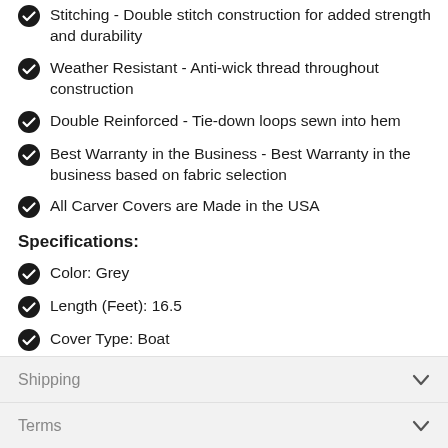Stitching - Double stitch construction for added strength and durability
Weather Resistant - Anti-wick thread throughout construction
Double Reinforced - Tie-down loops sewn into hem
Best Warranty in the Business - Best Warranty in the business based on fabric selection
All Carver Covers are Made in the USA
Specifications:
Color: Grey
Length (Feet): 16.5
Cover Type: Boat
Shipping
Terms